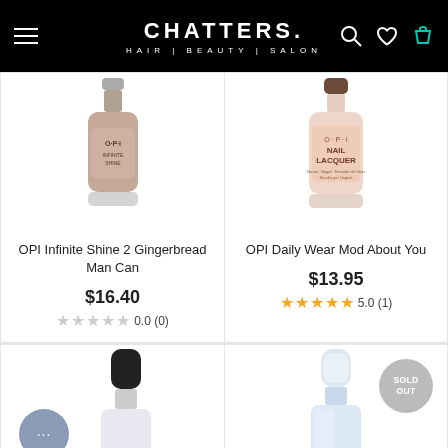CHATTERS HAIR|BEAUTY|SALON
[Figure (photo): OPI Infinite Shine 2 nail polish bottle in taupe/mauve color]
OPI Infinite Shine 2 Gingerbread Man Can
$16.40
0.0 (0)
[Figure (photo): OPI Daily Wear Mod About You nail lacquer bottle in pink/nude color]
OPI Daily Wear Mod About You
$13.95
5.0 (1)
[Figure (photo): Nail polish bottle with black cap, partially visible at bottom of page]
[Figure (photo): Nail polish bottle with clear/white cap marked SOLD OUT, partially visible at bottom of page]